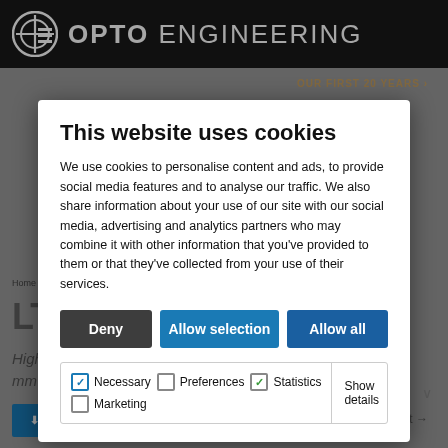OPTO ENGINEERING
This website uses cookies
We use cookies to personalise content and ads, to provide social media features and to analyse our traffic. We also share information about your use of our site with our social media, advertising and analytics partners who may combine it with other information that you've provided to them or that they've collected from your use of their services.
Deny
Allow selection
Allow all
Necessary (checked) | Preferences (unchecked) | Statistics (checked) | Marketing (unchecked) | Show details
High uniformity continuous LED backlights, 144x72 mm illumination area, blue, 470 nm
DOWNLOAD DATASHEET
← Prev  Next →